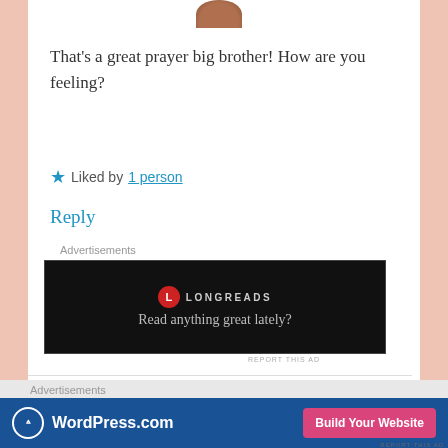[Figure (photo): Circular avatar photo of a person, partially visible at top]
That's a great prayer big brother! How are you feeling?
★ Liked by 1 person
Reply
Advertisements
[Figure (other): Longreads advertisement: dark/black background with Longreads logo and text 'Read anything great lately?']
REPORT THIS AD
[Figure (photo): Circular avatar photo of inhiscare753 commenter]
inhiscare753
DECEMBER 4, 2019 AT 10:13 AM
Advertisements
[Figure (other): WordPress.com advertisement banner: blue background with WordPress logo, text 'WordPress.com' and pink 'Build Your Website' button]
REPORT THIS AD